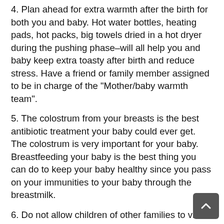4. Plan ahead for extra warmth after the birth for both you and baby. Hot water bottles, heating pads, hot packs, big towels dried in a hot dryer during the pushing phase–will all help you and baby keep extra toasty after birth and reduce stress. Have a friend or family member assigned to be in charge of the "Mother/baby warmth team".
5. The colostrum from your breasts is the best antibiotic treatment your baby could ever get. The colostrum is very important for your baby. Breastfeeding your baby is the best thing you can do to keep your baby healthy since you pass on your immunities to your baby through the breastmilk.
6. Do not allow children of other families to visit the new baby for the first 3 weeks. Keep your older kids healthy so they are not sneezing and coughing on new baby.
The rest of this packet contains other techniques of